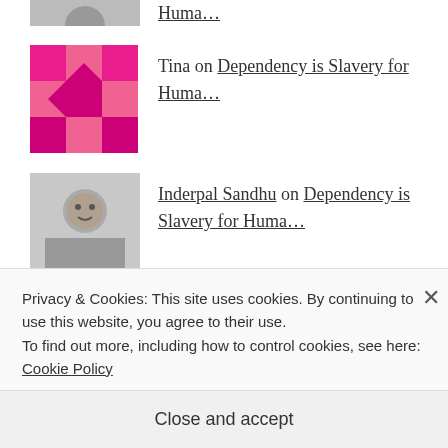Tina on Dependency is Slavery for Huma…
Inderpal Sandhu on Dependency is Slavery for Huma…
Archives
May 2021
April 2020
Privacy & Cookies: This site uses cookies. By continuing to use this website, you agree to their use.
To find out more, including how to control cookies, see here: Cookie Policy
Close and accept